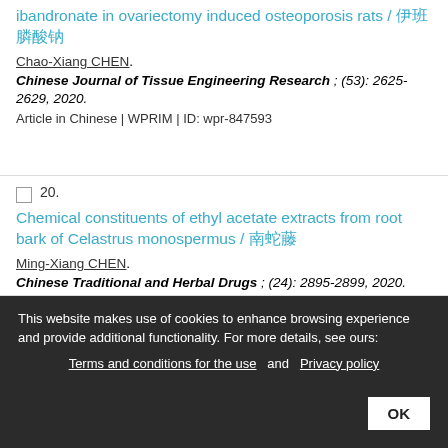ibandronate in ovariectomy induced osteoporosis rats / 伊班膦酸钠
Chao-Xiang CHEN.
Chinese Journal of Tissue Engineering Research ; (53): 2625-2629, 2020.
Article in Chinese | WPRIM | ID: wpr-847593
Chemical constituents of ethyl acetate extracts from root bark of Celastrus monospermus / 南蛇藤
Ming-Xiang CHEN.
Chinese Traditional and Herbal Drugs ; (24): 2895-2899, 2020.
Article in Chinese | WPRIM | ID: ...
This website makes use of cookies to enhance browsing experience and provide additional functionality. For more details, see ours: Terms and conditions for the use and Privacy policy